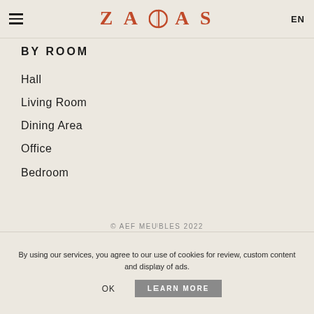ZAGAS EN
BY ROOM
Hall
Living Room
Dining Area
Office
Bedroom
© AEF MEUBLES 2022
By using our services, you agree to our use of cookies for review, custom content and display of ads.
OK    LEARN MORE